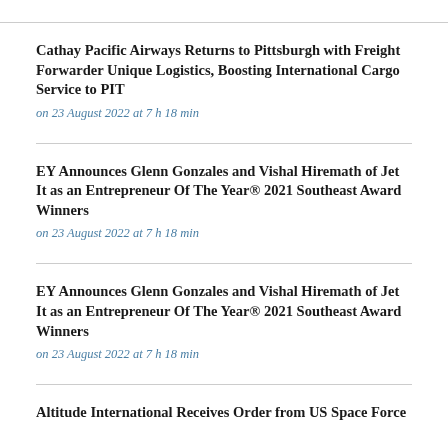Cathay Pacific Airways Returns to Pittsburgh with Freight Forwarder Unique Logistics, Boosting International Cargo Service to PIT
on 23 August 2022 at 7 h 18 min
EY Announces Glenn Gonzales and Vishal Hiremath of Jet It as an Entrepreneur Of The Year® 2021 Southeast Award Winners
on 23 August 2022 at 7 h 18 min
EY Announces Glenn Gonzales and Vishal Hiremath of Jet It as an Entrepreneur Of The Year® 2021 Southeast Award Winners
on 23 August 2022 at 7 h 18 min
Altitude International Receives Order from US Space Force